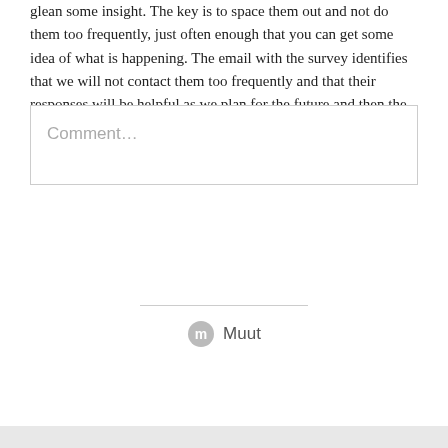glean some insight. The key is to space them out and not do them too frequently, just often enough that you can get some idea of what is happening. The email with the survey identifies that we will not contact them too frequently and that their responses will be helpful as we plan for the future and then the survey is very quick.
Comment...
[Figure (logo): Muut logo: a circular grey icon with letter m, followed by the text 'Muut']